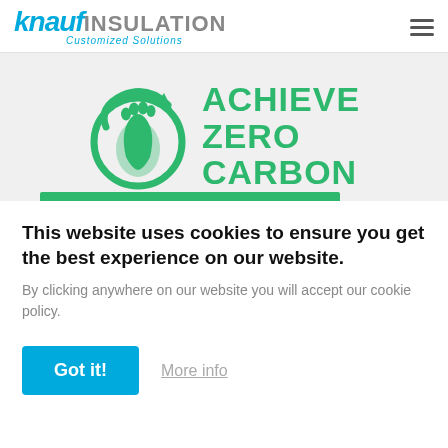[Figure (logo): Knauf Insulation logo with 'knauf' in blue italic bold, 'INSULATION' in gray uppercase, and 'Customized Solutions' in blue italic below]
[Figure (logo): Achieve Zero Carbon logo: green circular footprint icon with text 'ACHIEVE ZERO CARBON' in bold green uppercase letters]
This website uses cookies to ensure you get the best experience on our website.
By clicking anywhere on our website you will accept our cookie policy.
Got it!
More info